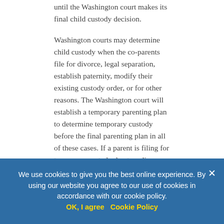until the Washington court makes its final child custody decision.
Washington courts may determine child custody when the co-parents file for divorce, legal separation, establish paternity, modify their existing custody order, or for other reasons. The Washington court will establish a temporary parenting plan to determine temporary custody before the final parenting plan in all of these cases. If a parent is filing for temporary custody due to a divorce, the divorce case must exist or start when the parent files the motion for temporary custody.
A parent must file the Motion for Temporary Family Law Order with the Superior Court Clerk to file for temporary custody. Each Washington county will have different local court rules.
Emergency Temporary Custody
issue an emergency temp... a child is in immediate danger due to a parent's substance abuse, abandonment or other dangerous behavior
We use cookies to give you the best online experience. By using our website you agree to our use of cookies in accordance with our cookie policy.
OK, I agree   Cookie Policy